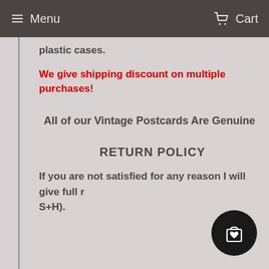Menu  Cart
plastic cases.
We give shipping discount on multiple purchases!
All of our Vintage Postcards Are Genuine
RETURN POLICY
If you are not satisfied for any reason I will give full r... S+H).
[Figure (other): Shopping bag with heart icon in a black circle]